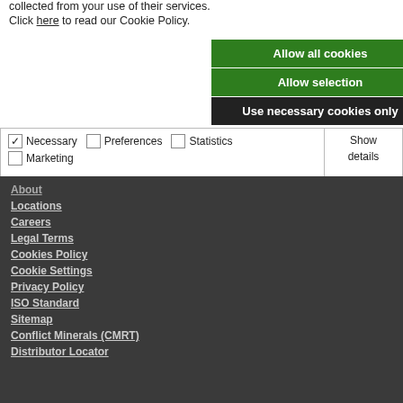collected from your use of their services.
Click here to read our Cookie Policy.
Allow all cookies
Allow selection
Use necessary cookies only
| ☑ Necessary | ☐ Preferences | ☐ Statistics | Show details ▾ |
| ☐ Marketing |  |  |  |
About
Locations
Careers
Legal Terms
Cookies Policy
Cookie Settings
Privacy Policy
ISO Standard
Sitemap
Conflict Minerals (CMRT)
Distributor Locator